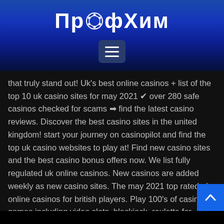ПрофХим
[Figure (other): Hamburger menu button icon]
that truly stand out! Uk's best online casinos + list of the top 10 uk casino sites for may 2021 ✔ over 280 safe casinos checked for scams ➡ find the latest casino reviews. Discover the best casino sites in the united kingdom! start your journey on casinopilot and find the top uk casino websites to play at! Find new casino sites and the best casino bonus offers now. We list fully regulated uk online casinos. New casinos are added weekly as new casino sites. The may 2021 top rated uk online casinos for british players. Play 100's of casino games including video slots, blackjack, roulette for money. Seguro que la primera vez que escuchastes hablar